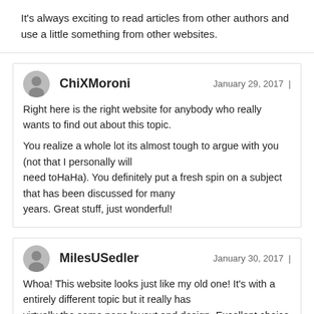It's always exciting to read articles from other authors and use a little something from other websites.
ChiXMoroni — January 29, 2017 | Right here is the right website for anybody who really wants to find out about this topic. You realize a whole lot its almost tough to argue with you (not that I personally will need toHaHa). You definitely put a fresh spin on a subject that has been discussed for many years. Great stuff, just wonderful!
MilesUSedler — January 30, 2017 | Whoa! This website looks just like my old one! It's with a entirely different topic but it really has virtually the same page layout and design. Excellent choice of colors!